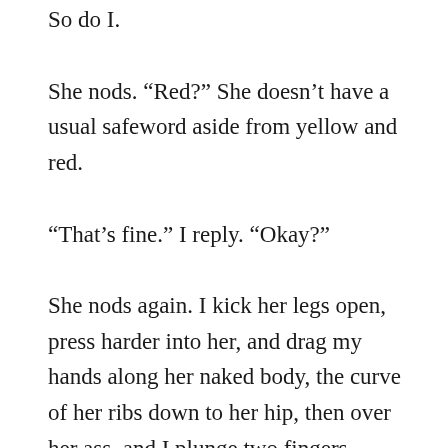So do I.
She nods. “Red?” She doesn’t have a usual safeword aside from yellow and red.
“That’s fine.” I reply. “Okay?”
She nods again. I kick her legs open, press harder into her, and drag my hands along her naked body, the curve of her ribs down to her hip, then over her ass, and I plunge two fingers between her lips, hard and right deep into her. She gasps, arches her back a little to push against me harder. I